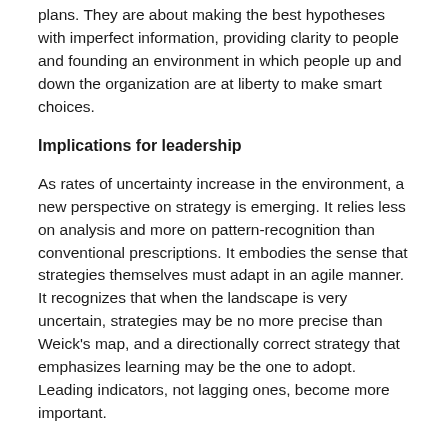plans. They are about making the best hypotheses with imperfect information, providing clarity to people and founding an environment in which people up and down the organization are at liberty to make smart choices.
Implications for leadership
As rates of uncertainty increase in the environment, a new perspective on strategy is emerging. It relies less on analysis and more on pattern-recognition than conventional prescriptions. It embodies the sense that strategies themselves must adapt in an agile manner. It recognizes that when the landscape is very uncertain, strategies may be no more precise than Weick's map, and a directionally correct strategy that emphasizes learning may be the one to adopt. Leading indicators, not lagging ones, become more important.
A leadership model that does not presume that all information is possessed at the “top” of an organization is further essential. Instead, strategies need to incorporate deep insight into the organization’s capabilities as well as rich insight into the context in which the company is